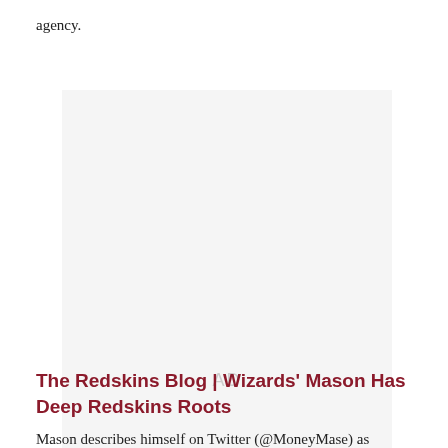agency.
[Figure (other): Advertisement placeholder with 'AD' label in light gray on white/light gray background]
The Redskins Blog | Wizards' Mason Has Deep Redskins Roots
Mason describes himself on Twitter (@MoneyMase) as